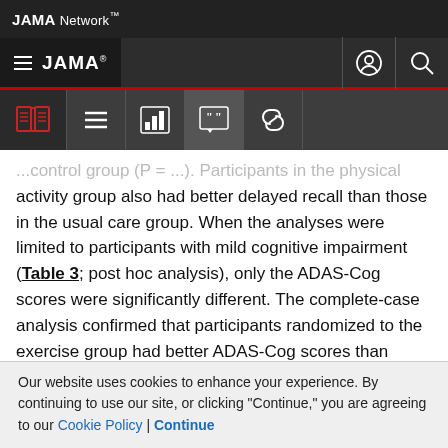JAMA Network
JAMA
...control group (P = ...). Participants in the physical activity group also had better delayed recall than those in the usual care group. When the analyses were limited to participants with mild cognitive impairment (Table 3; post hoc analysis), only the ADAS-Cog scores were significantly different. The complete-case analysis confirmed that participants randomized to the exercise group had better ADAS-Cog scores than those in the usual care control group throughout the trial (Table 4). They also had
Our website uses cookies to enhance your experience. By continuing to use our site, or clicking "Continue," you are agreeing to our Cookie Policy | Continue